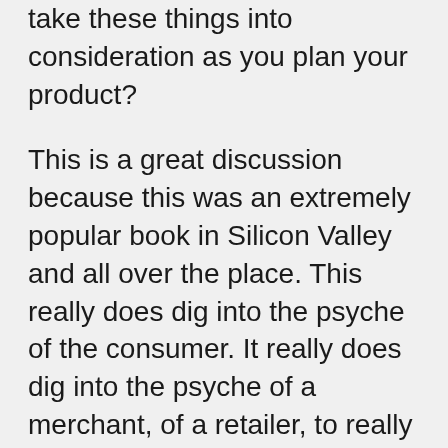take these things into consideration as you plan your product?
This is a great discussion because this was an extremely popular book in Silicon Valley and all over the place. This really does dig into the psyche of the consumer. It really does dig into the psyche of a merchant, of a retailer, to really understand how our products formed and how do we get so attached to them. It's more than you think it is. So you have to get the book certainly, but I want you to start with this podcast. Without further ado here is Nir Eyal.
Welcome to Missions and Marketplace Podcast. Join us as we talk to business and thought leaders to discuss their passion in and outside of business and how it drives them to give and be citizens of